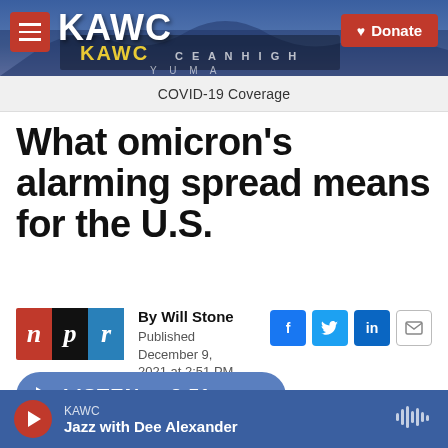[Figure (screenshot): KAWC radio station header banner with logo, hamburger menu button, and red Donate button over a photo of a roller coaster/building with blue sky]
COVID-19 Coverage
What omicron's alarming spread means for the U.S.
By Will Stone
Published December 9, 2021 at 2:51 PM MST
[Figure (logo): NPR logo with three colored blocks: red N, black P, blue R]
[Figure (other): Social sharing buttons: Facebook (f), Twitter (bird), LinkedIn (in), Email (envelope)]
LISTEN • 3:51
KAWC
Jazz with Dee Alexander